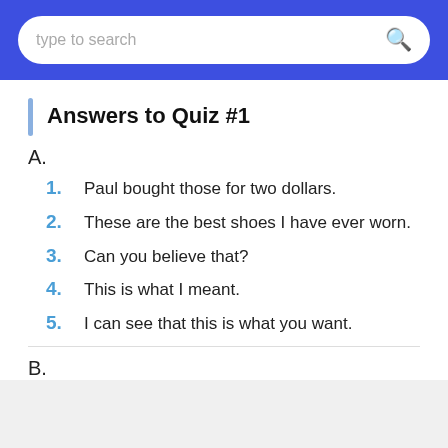type to search
Answers to Quiz #1
A.
1. Paul bought those for two dollars.
2. These are the best shoes I have ever worn.
3. Can you believe that?
4. This is what I meant.
5. I can see that this is what you want.
B.